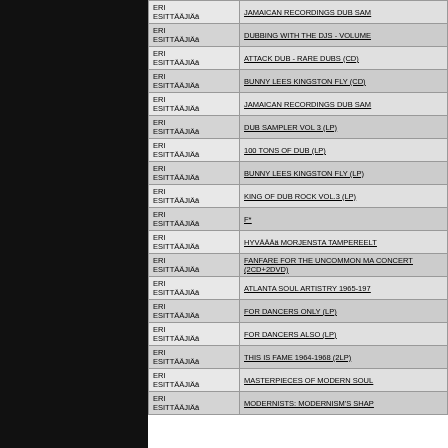| Artist | Title |
| --- | --- |
| ERI ESITTÄÄJIÄä | JAMAICAN RECORDINGS DUB SAM |
| ERI ESITTÄÄJIÄä | DUBBING WITH THE DJS - VOLUME |
| ERI ESITTÄÄJIÄä | ATTACK DUB - RARE DUBS (CD) |
| ERI ESITTÄÄJIÄä | BUNNY LEES KINGSTON FLY (CD) |
| ERI ESITTÄÄJIÄä | JAMAICAN RECORDINGS DUB SAM |
| ERI ESITTÄÄJIÄä | DUB SAMPLER VOL 3 (LP) |
| ERI ESITTÄÄJIÄä | 100 TONS OF DUB (LP) |
| ERI ESITTÄÄJIÄä | BUNNY LEES KINGSTON FLY (LP) |
| ERI ESITTÄÄJIÄä | KING OF DUB ROCK VOL.3 (LP) |
| ERI ESITTÄÄJIÄä | F* |
| ERI ESITTÄÄJIÄä | HYVÄÄÄä MORJENSTA TAMPEREELT |
| ERI ESITTÄÄJIÄä | FANFARE FOR THE UNCOMMON MA CONCERT (2CD+2DVD) |
| ERI ESITTÄÄJIÄä | ATLANTA SOUL ARTISTRY 1965-197 |
| ERI ESITTÄÄJIÄä | FOR DANCERS ONLY (LP) |
| ERI ESITTÄÄJIÄä | FOR DANCERS ALSO (LP) |
| ERI ESITTÄÄJIÄä | THIS IS FAME 1964-1968 (2LP) |
| ERI ESITTÄÄJIÄä | MASTERPIECES OF MODERN SOUL |
| ERI ESITTÄÄJIÄä | MODERNISTS: MODERNISM'S SHAP |